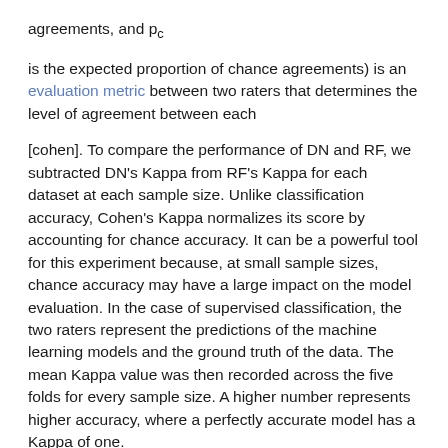agreements, and p_c
is the expected proportion of chance agreements) is an evaluation metric between two raters that determines the level of agreement between each
[cohen]. To compare the performance of DN and RF, we subtracted DN's Kappa from RF's Kappa for each dataset at each sample size. Unlike classification accuracy, Cohen's Kappa normalizes its score by accounting for chance accuracy. It can be a powerful tool for this experiment because, at small sample sizes, chance accuracy may have a large impact on the model evaluation. In the case of supervised classification, the two raters represent the predictions of the machine learning models and the ground truth of the data. The mean Kappa value was then recorded across the five folds for every sample size. A higher number represents higher accuracy, where a perfectly accurate model has a Kappa of one.
Expected calibration error (ECE) is a metric used to compare two distributions by calculating the expected difference between accuracy and confidence. In addition to Cohen's Kappa, ECE was computed for each dataset, and